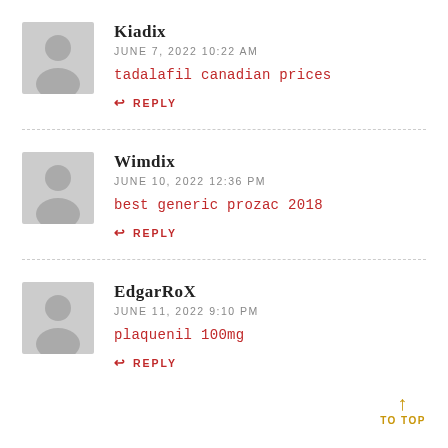Kiadix
JUNE 7, 2022 10:22 AM
tadalafil canadian prices
REPLY
Wimdix
JUNE 10, 2022 12:36 PM
best generic prozac 2018
REPLY
EdgarRoX
JUNE 11, 2022 9:10 PM
plaquenil 100mg
REPLY
TO TOP